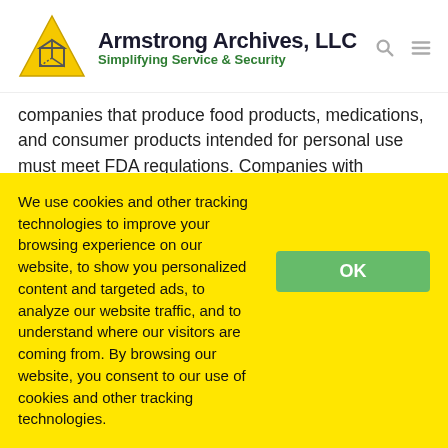[Figure (logo): Armstrong Archives LLC logo with yellow triangle containing a box, company name in dark navy bold, and tagline 'Simplifying Service & Security' in green bold]
companies that produce food products, medications, and consumer products intended for personal use must meet FDA regulations. Companies with stockholders must meet Securities and Exchanges Commission regulations. The U.S. Department of Labor oversees
We use cookies and other tracking technologies to improve your browsing experience on our website, to show you personalized content and targeted ads, to analyze our website traffic, and to understand where our visitors are coming from. By browsing our website, you consent to our use of cookies and other tracking technologies.